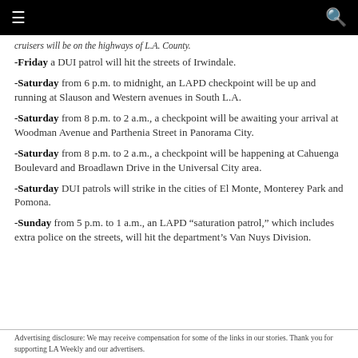≡  [navigation bar]  Q
cruisers will be on the highways of L.A. County.
-Friday a DUI patrol will hit the streets of Irwindale.
-Saturday from 6 p.m. to midnight, an LAPD checkpoint will be up and running at Slauson and Western avenues in South L.A.
-Saturday from 8 p.m. to 2 a.m., a checkpoint will be awaiting your arrival at Woodman Avenue and Parthenia Street in Panorama City.
-Saturday from 8 p.m. to 2 a.m., a checkpoint will be happening at Cahuenga Boulevard and Broadlawn Drive in the Universal City area.
-Saturday DUI patrols will strike in the cities of El Monte, Monterey Park and Pomona.
-Sunday from 5 p.m. to 1 a.m., an LAPD “saturation patrol,” which includes extra police on the streets, will hit the department's Van Nuys Division.
Advertising disclosure: We may receive compensation for some of the links in our stories. Thank you for supporting LA Weekly and our advertisers.